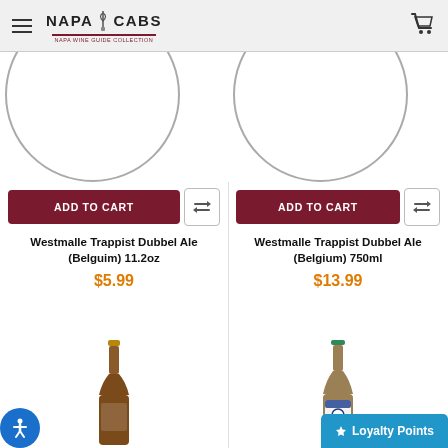NAPA CABS — Navigation header with hamburger menu and cart icon
[Figure (photo): Circular product image placeholder for Westmalle Trappist Dubbel Ale 11.2oz (left column)]
[Figure (photo): Circular product image placeholder for Westmalle Trappist Dubbel Ale 750ml (right column)]
ADD TO CART
ADD TO CART
Westmalle Trappist Dubbel Ale (Belguim) 11.2oz
$5.99
Westmalle Trappist Dubbel Ale (Belgium) 750ml
$13.99
[Figure (photo): Beer bottle photo for left product (bottom row)]
[Figure (photo): Beer bottle with label photo for right product (bottom row)]
Loyalty Points